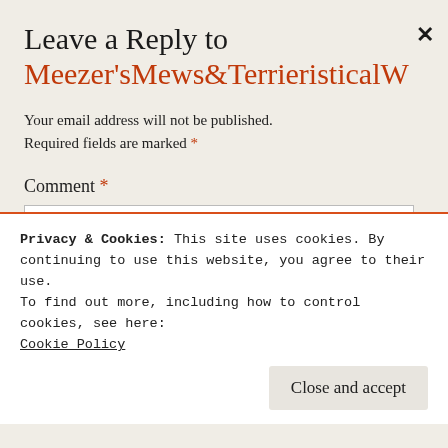Leave a Reply to Meezer'sMews&TerrieristicalW
Your email address will not be published. Required fields are marked *
Comment *
Name *
Privacy & Cookies: This site uses cookies. By continuing to use this website, you agree to their use. To find out more, including how to control cookies, see here: Cookie Policy
Close and accept